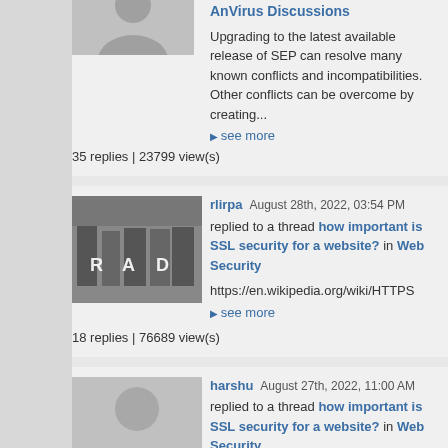Upgrading to the latest available release of SEP can resolve many known conflicts and incompatibilities. Other conflicts can be overcome by creating...
▶ see more
35 replies | 23799 view(s)
rlirpa  August 28th, 2022, 03:54 PM  replied to a thread how important is SSL security for a website? in Web Security
https://en.wikipedia.org/wiki/HTTPS
▶ see more
18 replies | 76689 view(s)
harshu  August 27th, 2022, 11:00 AM  replied to a thread how important is SSL security for a website? in Web Security
SSL keeps internet connections secure and prevents criminals from reading or modifying information transferred between two systems.